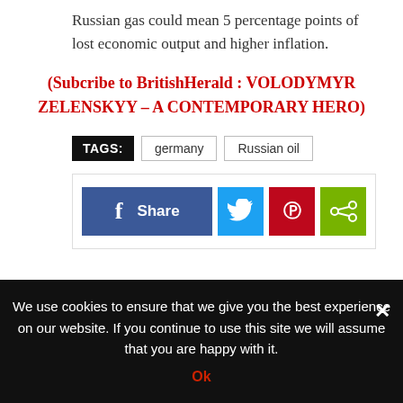Russian gas could mean 5 percentage points of lost economic output and higher inflation.
(Subcribe to BritishHerald : VOLODYMYR ZELENSKYY – A CONTEMPORARY HERO)
TAGS: germany Russian oil
[Figure (infographic): Social sharing buttons: Facebook Share, Twitter, Pinterest, and a generic share button]
We use cookies to ensure that we give you the best experience on our website. If you continue to use this site we will assume that you are happy with it.
Ok